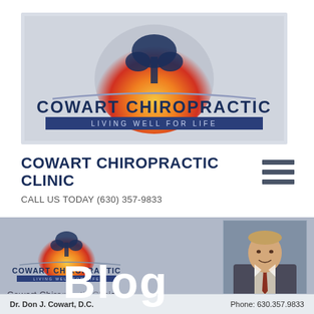[Figure (logo): Cowart Chiropractic logo with tree silhouette on sunset, 'COWART CHIROPRACTIC' and 'LIVING WELL FOR LIFE' tagline]
COWART CHIROPRACTIC CLINIC
CALL US TODAY (630) 357-9833
[Figure (screenshot): Cowart Chiropractic website blog section showing logo, 'Blog' overlay text, 'Cowart Chiropractic Clinic' text, and a photo of Dr. Don J. Cowart]
Dr. Don J. Cowart, D.C.
Phone: 630.357.9833